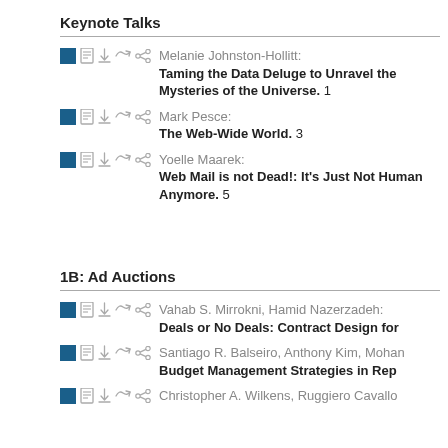Keynote Talks
Melanie Johnston-Hollitt: Taming the Data Deluge to Unravel the Mysteries of the Universe. 1
Mark Pesce: The Web-Wide World. 3
Yoelle Maarek: Web Mail is not Dead!: It's Just Not Human Anymore. 5
1B: Ad Auctions
Vahab S. Mirrokni, Hamid Nazerzadeh: Deals or No Deals: Contract Design for
Santiago R. Balseiro, Anthony Kim, Mohan Budget Management Strategies in Rep
Christopher A. Wilkens, Ruggiero Cavallo